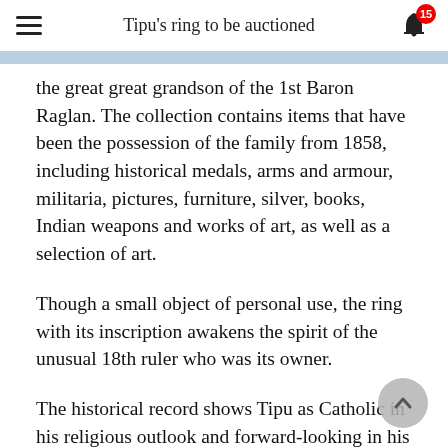Tipu's ring to be auctioned
the great great grandson of the 1st Baron Raglan. The collection contains items that have been the possession of the family from 1858, including historical medals, arms and armour, militaria, pictures, furniture, silver, books, Indian weapons and works of art, as well as a selection of art.
Though a small object of personal use, the ring with its inscription awakens the spirit of the unusual 18th ruler who was its owner.
The historical record shows Tipu as Catholic in his religious outlook and forward-looking in his world-view. He sought out what was modern and transformatory for the time, putting it to use in his paramount objective of